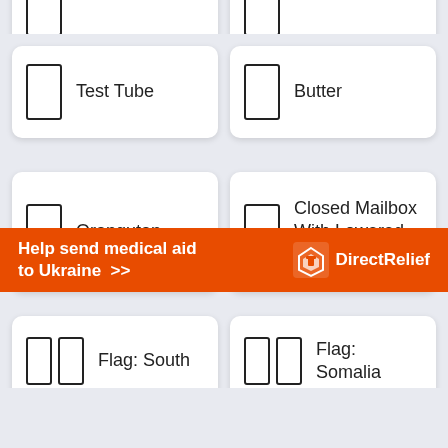[Figure (other): Emoji card placeholder top-left (partially visible)]
[Figure (other): Emoji card placeholder top-right (partially visible)]
Test Tube
Butter
Orangutan
Closed Mailbox With Lowered Flag
Flag: South
Flag: Somalia
[Figure (infographic): Ad banner: Help send medical aid to Ukraine >> Direct Relief logo]